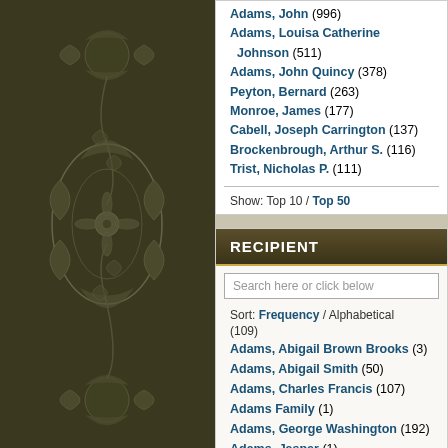[Figure (illustration): Decorative dark olive/brown floral and paisley pattern on the left side of the page]
Adams, John (996)
Adams, Louisa Catherine Johnson (511)
Adams, John Quincy (378)
Peyton, Bernard (263)
Monroe, James (177)
Cabell, Joseph Carrington (137)
Brockenbrough, Arthur S. (116)
Trist, Nicholas P. (111)
Show: Top 10 / Top 50
RECIPIENT
Search here or click below
Sort: Frequency / Alphabetical
(109)
Adams, Abigail Brown Brooks (3)
Adams, Abigail Smith (50)
Adams, Charles Francis (107)
Adams Family (1)
Adams, George Washington (192)
Adams, Jasper (1)
Adams, John (1,014)
Adams, John Quincy (306)
Adams, Joseph (1)
Adams, Josiah (2)
Adams, Louisa Catherine